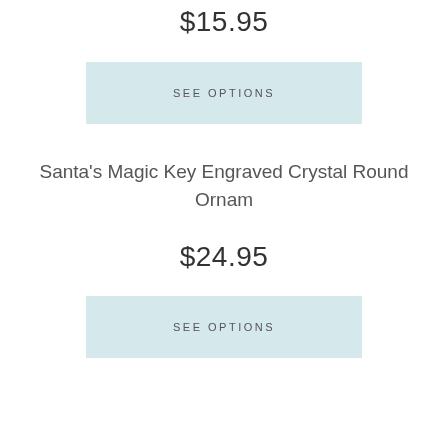$15.95
SEE OPTIONS
Santa's Magic Key Engraved Crystal Round Ornam
$24.95
SEE OPTIONS